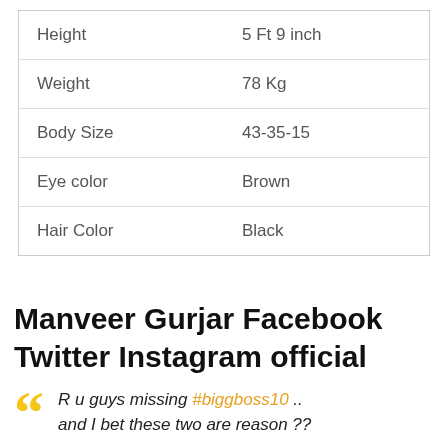|  |  |
| --- | --- |
| Height | 5 Ft 9 inch |
| Weight | 78 Kg |
| Body Size | 43-35-15 |
| Eye color | Brown |
| Hair Color | Black |
Manveer Gurjar Facebook Twitter Instagram official
R u guys missing #biggboss10 .. and I bet these two are reason ??